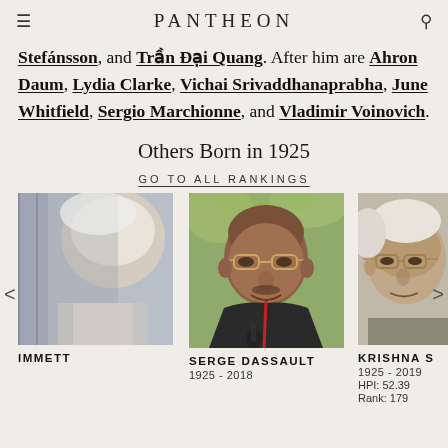PANTHEON
Stefánsson, and Trần Đại Quang. After him are Ahron Daum, Lydia Clarke, Vichai Srivaddhanaprabha, June Whitfield, Sergio Marchionne, and Vladimir Voinovich.
Others Born in 1925
GO TO ALL RANKINGS
[Figure (photo): Partial photo of a person with white hair, cropped on the left side of the carousel]
IMMETT
[Figure (photo): Photo of Serge Dassault, an elderly man of South Asian appearance wearing glasses and a suit with a red lanyard]
SERGE DASSAULT
1925 - 2018
[Figure (photo): Partial photo of Krishna S, an elderly person with glasses and white hair, cropped on the right side]
KRISHNA S
1925 - 2019
HPI: 52.39
Rank: 179